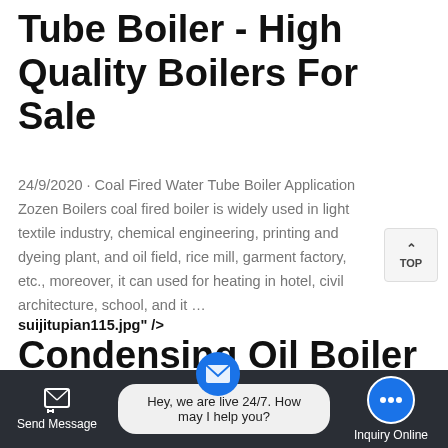Coal Fired Water Tube Boiler - High Quality Boilers For Sale
24/9/2020 · Coal Fired Water Tube Boiler Application Zozen Boilers coal fired boiler is widely used in light textile industry, chemical engineering, printing and dyeing plant, and oil field, rice mill, garment factory, etc., moreover, it can used for heating in hotel, civil architecture, school, and it …
suijitupian115.jpg" />
Condensing Oil Boiler - Commercial Oil Boiler - 60W to
Hey, we are live 24/7. How may I help you?
Send Message    Inquiry Online